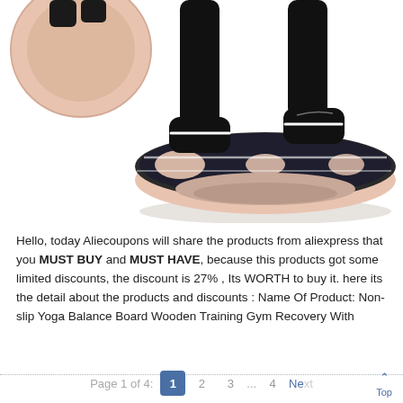[Figure (photo): Photo of a wooden balance board (Non-slip Yoga Balance Board) with a person standing on it wearing black socks and athletic pants. The board is oval/round shaped with a light wood/pink tone top surface and dark non-slip grip areas. Top left shows a round disk view of the board from above.]
Hello, today Aliecoupons will share the products from aliexpress that you MUST BUY and MUST HAVE, because this products got some limited discounts, the discount is 27% , Its WORTH to buy it. here its the detail about the products and discounts : Name Of Product: Non-slip Yoga Balance Board Wooden Training Gym Recovery With
Page 1 of 4:  1  2  3  ...  4  Next